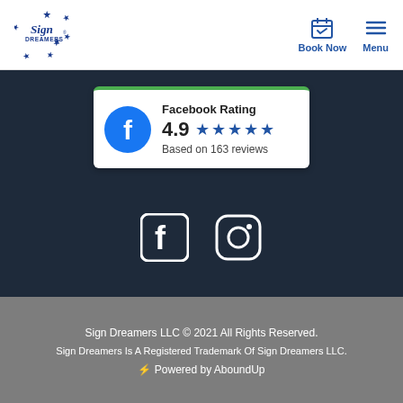[Figure (logo): Sign Dreamers logo with circular stars and text in blue]
[Figure (infographic): Facebook Rating card showing 4.9 stars based on 163 reviews with green top border]
[Figure (infographic): Social media icons: Facebook and Instagram in white on dark navy background]
Sign Dreamers LLC © 2021 All Rights Reserved.
Sign Dreamers Is A Registered Trademark Of Sign Dreamers LLC.
⚡ Powered by AboundUp